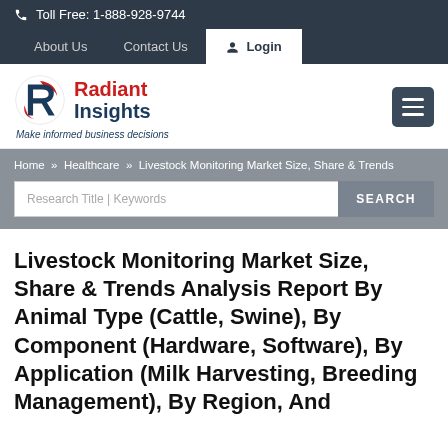Toll Free: 1-888-928-9744
About Us   Contact Us   Login
[Figure (logo): Radiant Insights logo with red and navy R symbol. Tagline: Make informed business decisions]
Home » Healthcare » Livestock Monitoring Market Size, Share & Trends
Research Title | Keywords   SEARCH
Livestock Monitoring Market Size, Share & Trends Analysis Report By Animal Type (Cattle, Swine), By Component (Hardware, Software), By Application (Milk Harvesting, Breeding Management), By Region, And